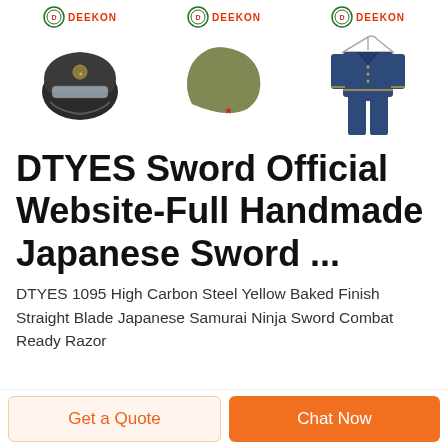[Figure (photo): Three DEEKON-branded product cards showing: a military helmet with visor, an olive garrison/side cap with red star, and a navy blue military uniform (jacket and trousers on hanger)]
DTYES Sword Official Website-Full Handmade Japanese Sword ...
DTYES 1095 High Carbon Steel Yellow Baked Finish Straight Blade Japanese Samurai Ninja Sword Combat Ready Razor
Get a Quote
Chat Now